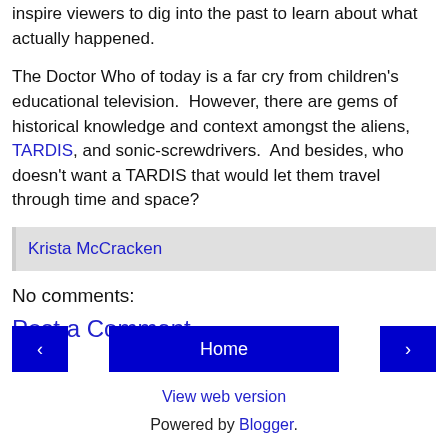inspire viewers to dig into the past to learn about what actually happened.
The Doctor Who of today is a far cry from children's educational television.  However, there are gems of historical knowledge and context amongst the aliens, TARDIS, and sonic-screwdrivers.  And besides, who doesn't want a TARDIS that would let them travel through time and space?
Krista McCracken
No comments:
Post a Comment
Home
View web version
Powered by Blogger.